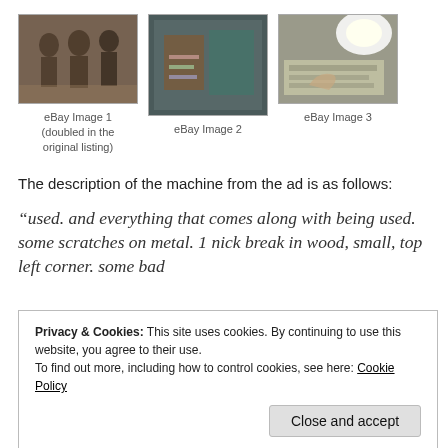[Figure (photo): eBay listing photo 1 - group of people at what appears to be a shop or event]
eBay Image 1
(doubled in the
original listing)
[Figure (photo): eBay listing photo 2 - image of a wooden object with colorful items]
eBay Image 2
[Figure (photo): eBay listing photo 3 - hand holding a newspaper under bright light]
eBay Image 3
The description of the machine from the ad is as follows:
“used. and everything that comes along with being used. some scratches on metal. 1 nick break in wood, small, top left corner. some bad
Privacy & Cookies: This site uses cookies. By continuing to use this website, you agree to their use.
To find out more, including how to control cookies, see here: Cookie Policy
be refurbished if some one want’s to have it